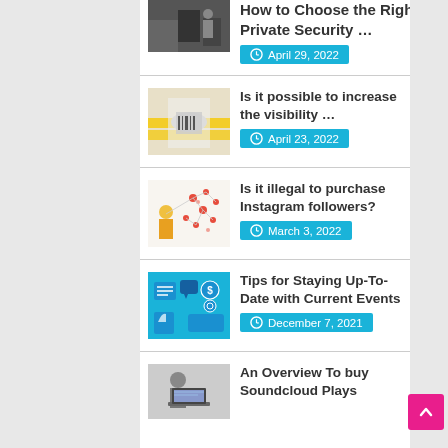How to Choose the Right Private Security … April 29, 2022
Is it possible to increase the visibility … April 23, 2022
Is it illegal to purchase Instagram followers? March 3, 2022
Tips for Staying Up-To-Date with Current Events December 7, 2021
An Overview To buy Soundcloud Plays